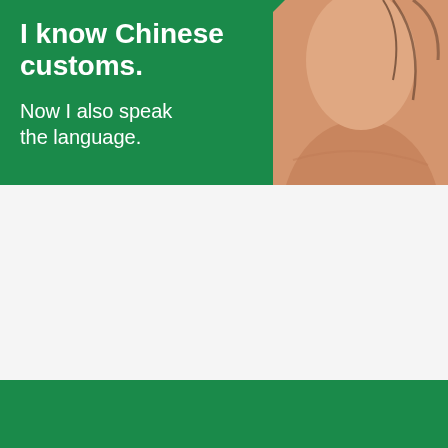[Figure (photo): Green banner with white bold headline 'I know Chinese customs.' and lighter subtext 'Now I also speak the language.' on the left, with a photo of a woman's neck/chin area on the right side and a green triangular arrow overlay at top-right of the green area.]
[Figure (photo): Solid green banner/block with no visible text content.]
Book your Chinese online course now!